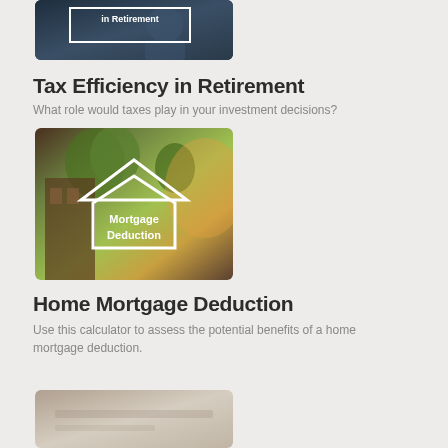[Figure (photo): Partial image of a financial/retirement planning scene with text 'in Retirement' overlay]
Tax Efficiency in Retirement
What role would taxes play in your investment decisions?
[Figure (photo): Brownstone street scene with white house icon outline overlay and text 'Mortgage Deduction']
Home Mortgage Deduction
Use this calculator to assess the potential benefits of a home mortgage deduction.
[Figure (photo): Partial image at bottom of page, light brown/tan surface]